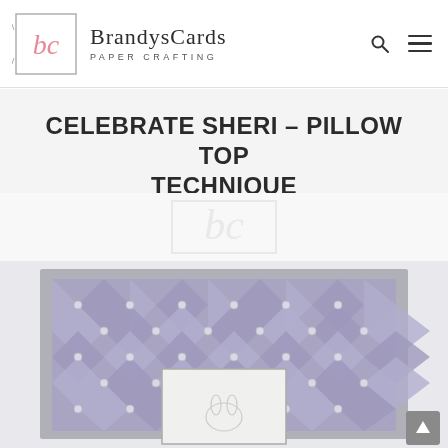BrandysCards — PAPER CRAFTING
CELEBRATE SHERI – PILLOW TOP TECHNIQUE
[Figure (photo): A handmade card featuring a tufted diamond-pattern pillow top technique in purple/lavender fabric with rhinestone accents, mounted on a gray/silver frame, partially visible at the bottom of the page.]